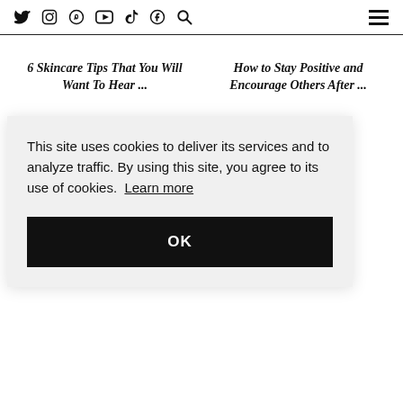Social icons: Twitter, Instagram, Pinterest, YouTube, TikTok, Facebook, Search | Hamburger menu
6 Skincare Tips That You Will Want To Hear ...
How to Stay Positive and Encourage Others After ...
This site uses cookies to deliver its services and to analyze traffic. By using this site, you agree to its use of cookies. Learn more
OK
...ONEY ...OUR ...OOD
and ere you'll find travel and destination